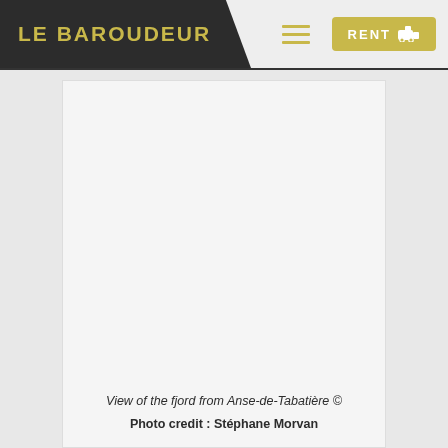LE BAROUDEUR
[Figure (photo): Large white/light grey photo placeholder area showing a view of the fjord from Anse-de-Tabatière]
View of the fjord from Anse-de-Tabatière ©
Photo credit : Stéphane Morvan